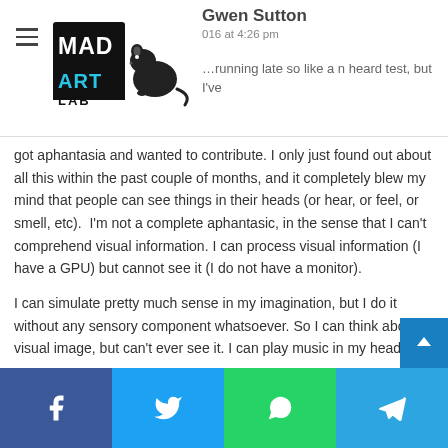Mad Art Lab logo header
Gwen Sutton
016 at 4:26 pm
…running late so like a n heard test, but I've got aphantasia and wanted to contribute. I only just found out about all this within the past couple of months, and it completely blew my mind that people can see things in their heads (or hear, or feel, or smell, etc).  I'm not a complete aphantasic, in the sense that I can't comprehend visual information. I can process visual information (I have a GPU) but cannot see it (I do not have a monitor).
I can simulate pretty much sense in my imagination, but I do it without any sensory component whatsoever. So I can think about a visual image, but can't ever see it. I can play music in my head, but can't hear it. I can imagine moving (including body parts I don't have, like a pair of wings), though again, no real sensory component. It lets me do 90% of what any visualize
Social share bar: Facebook, Twitter, WhatsApp, Telegram